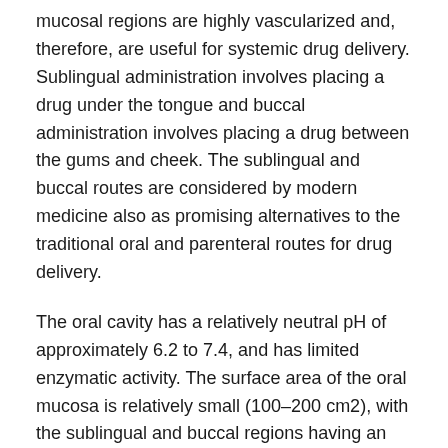mucosal regions are highly vascularized and, therefore, are useful for systemic drug delivery. Sublingual administration involves placing a drug under the tongue and buccal administration involves placing a drug between the gums and cheek. The sublingual and buccal routes are considered by modern medicine also as promising alternatives to the traditional oral and parenteral routes for drug delivery.
The oral cavity has a relatively neutral pH of approximately 6.2 to 7.4, and has limited enzymatic activity. The surface area of the oral mucosa is relatively small (100–200 cm2), with the sublingual and buccal regions having an estimated surface area of 26.5 ± 4.2 cm2 and 50.2 ± 2.9 cm2,